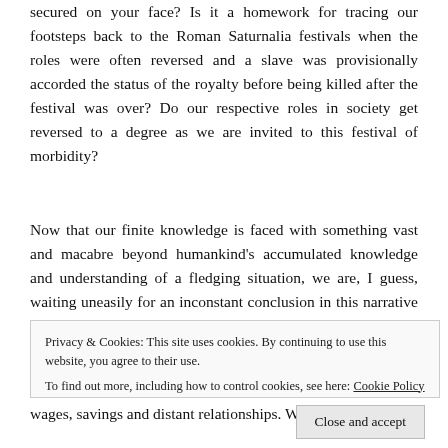secured on your face? Is it a homework for tracing our footsteps back to the Roman Saturnalia festivals when the roles were often reversed and a slave was provisionally accorded the status of the royalty before being killed after the festival was over? Do our respective roles in society get reversed to a degree as we are invited to this festival of morbidity?
Now that our finite knowledge is faced with something vast and macabre beyond humankind's accumulated knowledge and understanding of a fledging situation, we are, I guess, waiting uneasily for an inconstant conclusion in this narrative of pestilence. Is it a Kafkaesque catharsis in the making when our masks become our faces?
Privacy & Cookies: This site uses cookies. By continuing to use this website, you agree to their use. To find out more, including how to control cookies, see here: Cookie Policy
Close and accept
wages, savings and distant relationships. We have also learnt